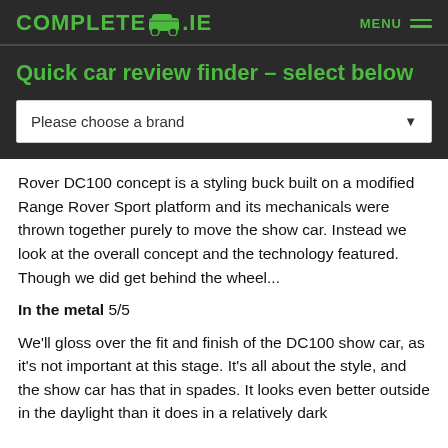COMPLETECAR.IE   MENU
Quick car review finder – select below
Please choose a brand
Rover DC100 concept is a styling buck built on a modified Range Rover Sport platform and its mechanicals were thrown together purely to move the show car. Instead we look at the overall concept and the technology featured. Though we did get behind the wheel...
In the metal 5/5
We'll gloss over the fit and finish of the DC100 show car, as it's not important at this stage. It's all about the style, and the show car has that in spades. It looks even better outside in the daylight than it does in a relatively dark